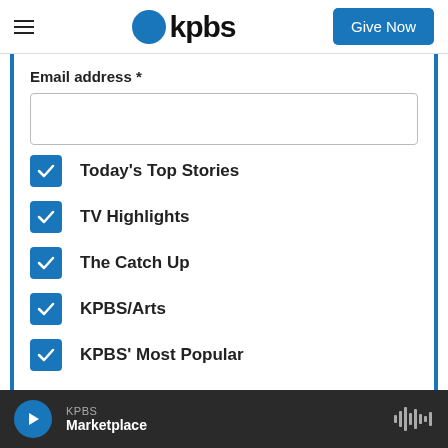KPBS — Give Now
Email address *
Today's Top Stories
TV Highlights
The Catch Up
KPBS/Arts
KPBS' Most Popular
KPBS — Marketplace